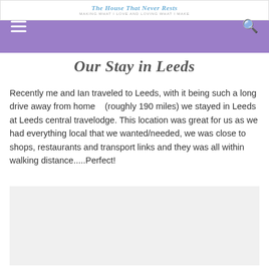The House That Never Rests — MAKING WHAT I LOVE AND LOVING WHAT I MAKE
Our Stay in Leeds
Recently me and Ian traveled to Leeds, with it being such a long drive away from home    (roughly 190 miles) we stayed in Leeds at Leeds central travelodge. This location was great for us as we had everything local that we wanted/needed, we was close to shops, restaurants and transport links and they was all within walking distance.....Perfect!
[Figure (photo): Image placeholder / photo of Leeds stay (light grey box)]